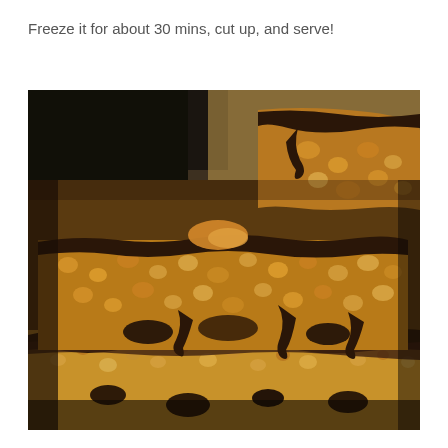Freeze it for about 30 mins, cut up, and serve!
[Figure (photo): Close-up photo of chocolate-topped peanut butter rice crispy treat bars stacked on top of each other, showing the layered texture of puffed rice cereal with chocolate coating and caramel/peanut butter mixture.]